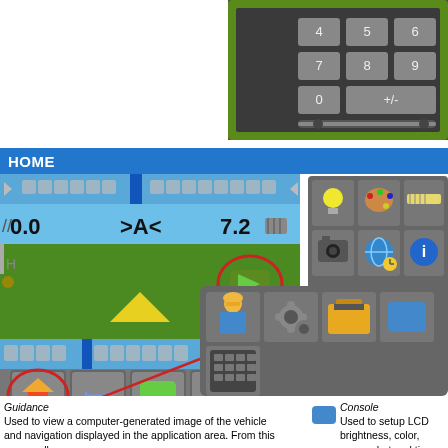[Figure (screenshot): Calculator/keypad interface screenshot in upper right corner showing number buttons (4,5,6,7,8,9,0,+/-) on a green and gray background]
HOME
[Figure (screenshot): Agricultural guidance software home screen showing navigation view with green field, yellow triangle marker, and overlaid menu panels with icons including home, guidance tools, settings, console (blue rectangle), and app menu icons (lightbulb, palette, ruler, camera, globe, info, worker, gear, toolbox, calculator)]
Guidance - Used to view a computer-generated image of the vehicle and navigation displayed in the application area. From this screen all guidance and navigation options can be accessed via the tab on view
Console - Used to setup LCD brightness, color, screenshot and time zone; start demo mode; view console information.